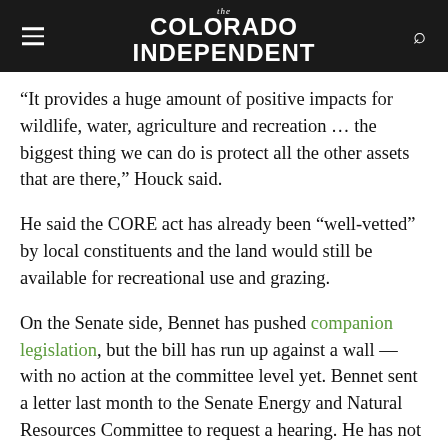The Colorado Independent
“It provides a huge amount of positive impacts for wildlife, water, agriculture and recreation … the biggest thing we can do is protect all the other assets that are there,” Houck said.
He said the CORE act has already been “well-vetted” by local constituents and the land would still be available for recreational use and grazing.
On the Senate side, Bennet has pushed companion legislation, but the bill has run up against a wall — with no action at the committee level yet. Bennet sent a letter last month to the Senate Energy and Natural Resources Committee to request a hearing. He has not heard back, a spokeswoman said this